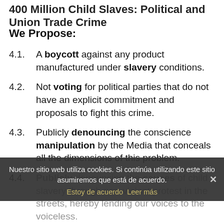400 Million Child Slaves: Political and Union Trade Crime
We Propose:
4.1. A boycott against any product manufactured under slavery conditions.
4.2. Not voting for political parties that do not have an explicit commitment and proposals to fight this crime.
4.3. Publicly denouncing the conscience manipulation by the Media that conceals all the dimensions of this problem.
4.4. Publicly denouncing the causes of child slavery through non-violent protest in the streets, hereby lending our voices to the voiceless.
Unemployment and child slavery stem from
Nuestro sitio web utiliza cookies. Si continúa utilizando este sitio asumiremos que está de acuerdo. Estoy de acuerdo  Leer más